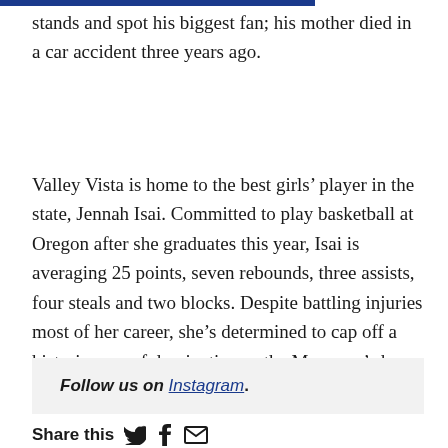stands and spot his biggest fan; his mother died in a car accident three years ago.
Valley Vista is home to the best girls’ player in the state, Jennah Isai. Committed to play basketball at Oregon after she graduates this year, Isai is averaging 25 points, seven rebounds, three assists, four steals and two blocks. Despite battling injuries most of her career, she’s determined to cap off a historic year of domination as the Monsoon’s key piece.
Follow us on Instagram.
Share this